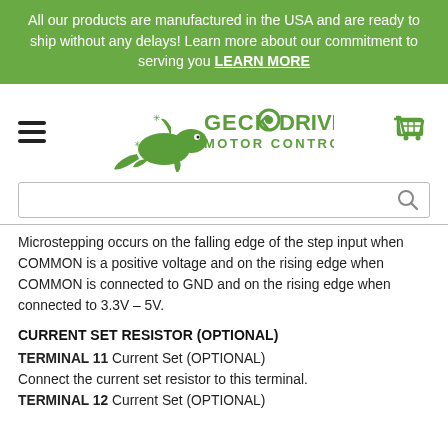All our products are manufactured in the USA and are ready to ship without any delays! Learn more about our commitment to serving you LEARN MORE
[Figure (logo): Geckodrive Motor Controls logo with gecko illustration]
Microstepping occurs on the falling edge of the step input when COMMON is a positive voltage and on the rising edge when COMMON is connected to GND and on the rising edge when connected to 3.3V – 5V.
CURRENT SET RESISTOR (OPTIONAL)
TERMINAL 11 Current Set (OPTIONAL)
Connect the current set resistor to this terminal.
TERMINAL 12 Current Set (OPTIONAL)